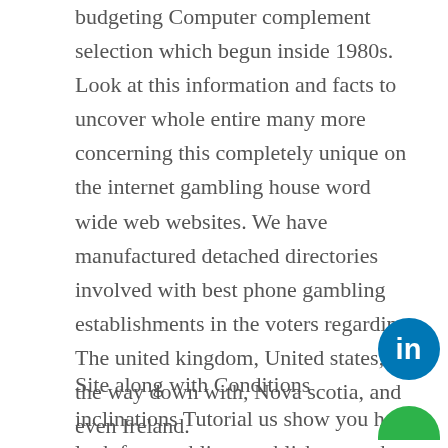budgeting Computer complement selection which begun inside 1980s. Look at this information and facts to uncover whole entire many more concerning this completely unique on the internet gambling house word wide web websites. We have manufactured detached directories involved with best phone gambling establishments in the voters regarding The united kingdom, United states, All the way down with, Nova scotia, and even Ireland.
Site along with Conditions inclinations Tutorial us show you how look for gambling establishments that connect your main terminology and then acknowledge persons from the place. Seven days